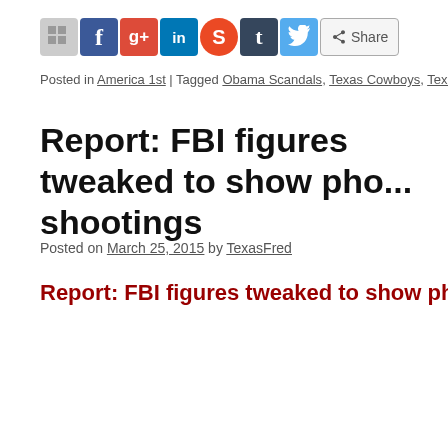[Figure (other): Social media share bar with icons for an unspecified sharing service, Facebook, Google+, LinkedIn, StumbleUpon, Tumblr, Twitter, and a Share button]
Posted in America 1st | Tagged Obama Scandals, Texas Cowboys, Texas Hu...
Report: FBI figures tweaked to show pho... shootings
Posted on March 25, 2015 by TexasFred
Report: FBI figures tweaked to show phony increas...